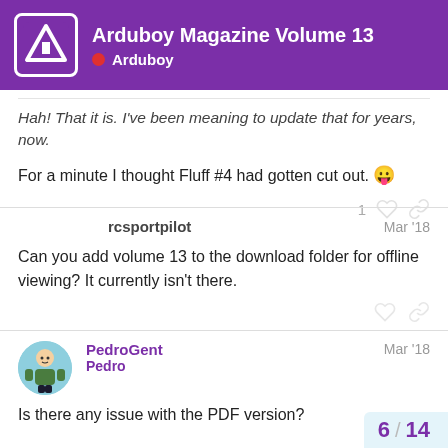Arduboy Magazine Volume 13 — Arduboy
Hah! That it is. I've been meaning to update that for years, now.
For a minute I thought Fluff #4 had gotten cut out. 😛
rcsportpilot — Mar '18
Can you add volume 13 to the download folder for offline viewing? It currently isn't there.
PedroGent Pedro — Mar '18
Is there any issue with the PDF version?
6 / 14